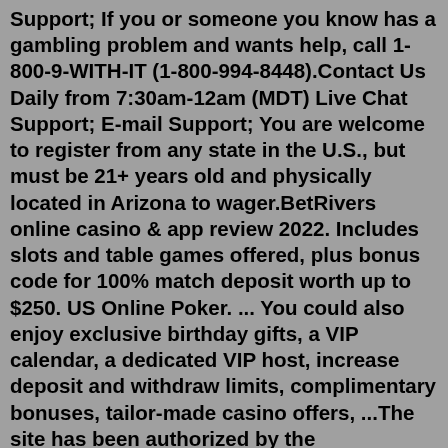Support; If you or someone you know has a gambling problem and wants help, call 1-800-9-WITH-IT (1-800-994-8448).Contact Us Daily from 7:30am-12am (MDT) Live Chat Support; E-mail Support; You are welcome to register from any state in the U.S., but must be 21+ years old and physically located in Arizona to wager.BetRivers online casino & app review 2022. Includes slots and table games offered, plus bonus code for 100% match deposit worth up to $250. US Online Poker. ... You could also enjoy exclusive birthday gifts, a VIP calendar, a dedicated VIP host, increase deposit and withdraw limits, complimentary bonuses, tailor-made casino offers, ...The site has been authorized by the Pennsylvania Gaming Control Board in accordance with their regulations for use by registered users 21 years or older and physically present in the Commonwealth of Pennsylvania.For issues regarding your VIP Preferred ACH account or questions about raising limits, you can reach the VIP Preferred support center.GAME @ 1-800-500-1073. Live Chat Support;